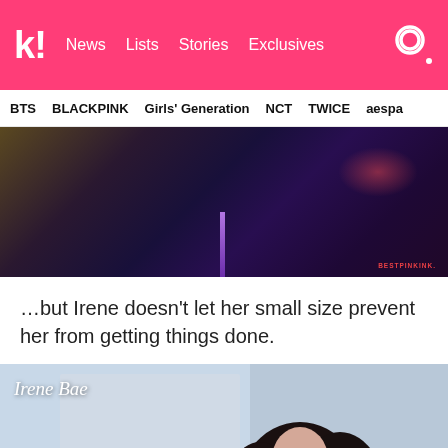k! News | Lists | Stories | Exclusives
BTS | BLACKPINK | Girls' Generation | NCT | TWICE | aespa
[Figure (photo): Dark stage photo with purple lighting accent and watermark 'BESTPINKINK.']
…but Irene doesn't let her small size prevent her from getting things done.
[Figure (photo): Photo of Irene Bae at what appears to be an airport or event, with 'Irene Bae' text overlay in white italic script. Dark-haired woman visible from shoulders up.]